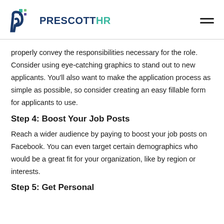[Figure (logo): PrescottHR logo with teal and purple dot grid icon and stylized P, company name PRESCOTTHR in dark navy and green]
properly convey the responsibilities necessary for the role. Consider using eye-catching graphics to stand out to new applicants. You'll also want to make the application process as simple as possible, so consider creating an easy fillable form for applicants to use.
Step 4: Boost Your Job Posts
Reach a wider audience by paying to boost your job posts on Facebook. You can even target certain demographics who would be a great fit for your organization, like by region or interests.
Step 5: Get Personal